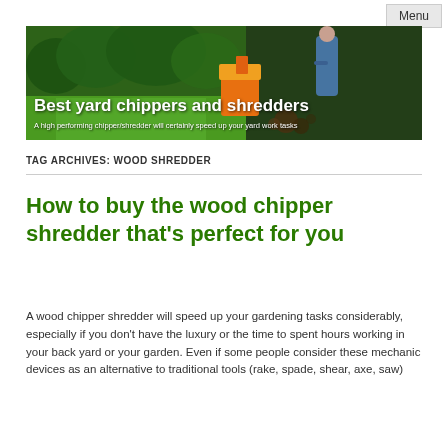Menu
[Figure (photo): Banner image showing a wood chipper/shredder machine with a person working in a yard. Text overlay reads 'Best yard chippers and shredders' with subtitle 'A high performing chipper/shredder will certainly speed up your yard work tasks']
TAG ARCHIVES: WOOD SHREDDER
How to buy the wood chipper shredder that's perfect for you
A wood chipper shredder will speed up your gardening tasks considerably, especially if you don't have the luxury or the time to spent hours working in your back yard or your garden. Even if some people consider these mechanic devices as an alternative to traditional tools (rake, spade, shear, axe, saw)